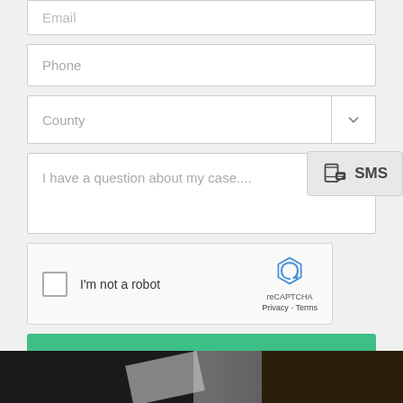[Figure (screenshot): Web form input field with placeholder text 'Email']
[Figure (screenshot): Web form input field with placeholder text 'Phone']
[Figure (screenshot): Web form dropdown field with placeholder text 'County' and a dropdown arrow button]
[Figure (screenshot): Web form textarea with placeholder 'I have a question about my case....' and an SMS badge overlay]
[Figure (screenshot): reCAPTCHA checkbox widget with 'I'm not a robot' label]
[Figure (screenshot): Green submit button with text 'GET MY FREE CASE ANALYSIS!']
[Figure (photo): Dark cropped photo strip at the bottom of the page, showing what appears to be a document or papers]